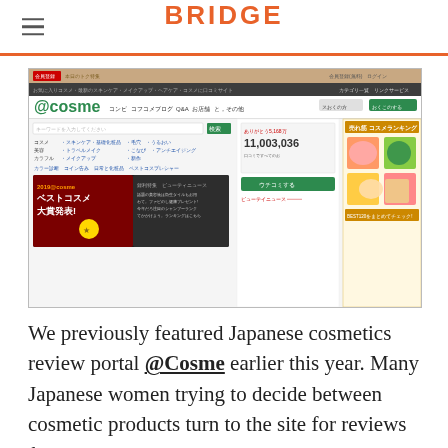BRIDGE
[Figure (screenshot): @cosme Japanese cosmetics review website screenshot showing the site homepage with logo, navigation, search bar, product categories, banner for best cosmetics awards, member counter showing 11,003,036, and cosmetics ranking section]
We previously featured Japanese cosmetics review portal @Cosme earlier this year. Many Japanese women trying to decide between cosmetic products turn to the site for reviews from their peers. The @Cosme website opened back in December of 1999, and on Christmas